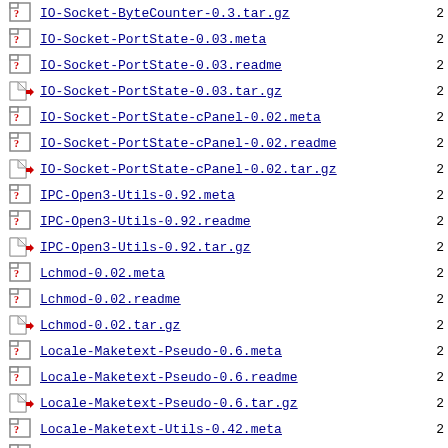IO-Socket-PortState-0.03.meta
IO-Socket-PortState-0.03.readme
IO-Socket-PortState-0.03.tar.gz
IO-Socket-PortState-cPanel-0.02.meta
IO-Socket-PortState-cPanel-0.02.readme
IO-Socket-PortState-cPanel-0.02.tar.gz
IPC-Open3-Utils-0.92.meta
IPC-Open3-Utils-0.92.readme
IPC-Open3-Utils-0.92.tar.gz
Lchmod-0.02.meta
Lchmod-0.02.readme
Lchmod-0.02.tar.gz
Locale-Maketext-Pseudo-0.6.meta
Locale-Maketext-Pseudo-0.6.readme
Locale-Maketext-Pseudo-0.6.tar.gz
Locale-Maketext-Utils-0.42.meta
Locale-Maketext-Utils-0.42.readme